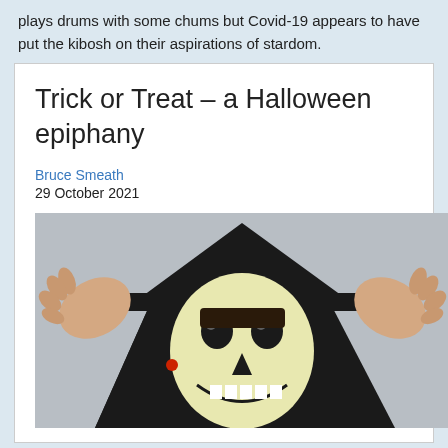plays drums with some chums but Covid-19 appears to have put the kibosh on their aspirations of stardom.
Trick or Treat – a Halloween epiphany
Bruce Smeath
29 October 2021
[Figure (photo): A person wearing a black cape and a Halloween skeleton/skull mask with hands raised, photographed against a light grey background.]